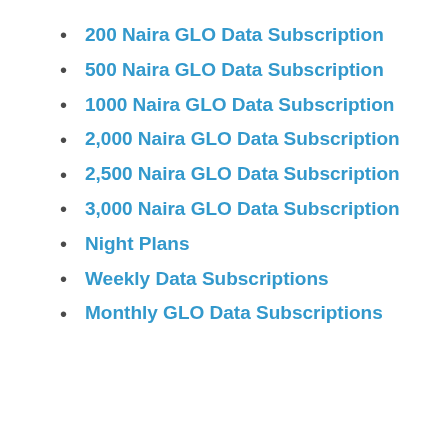200 Naira GLO Data Subscription
500 Naira GLO Data Subscription
1000 Naira GLO Data Subscription
2,000 Naira GLO Data Subscription
2,500 Naira GLO Data Subscription
3,000 Naira GLO Data Subscription
Night Plans
Weekly Data Subscriptions
Monthly GLO Data Subscriptions